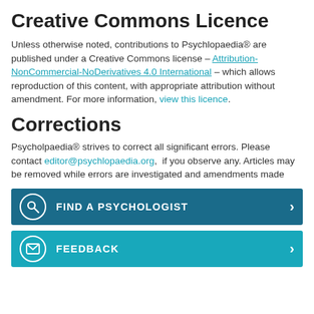Creative Commons Licence
Unless otherwise noted, contributions to Psychlopaedia® are published under a Creative Commons license – Attribution-NonCommercial-NoDerivatives 4.0 International – which allows reproduction of this content, with appropriate attribution without amendment. For more information, view this licence.
Corrections
Psycholpaedia® strives to correct all significant errors. Please contact editor@psychlopaedia.org,  if you observe any. Articles may be removed while errors are investigated and amendments made
FIND A PSYCHOLOGIST
FEEDBACK